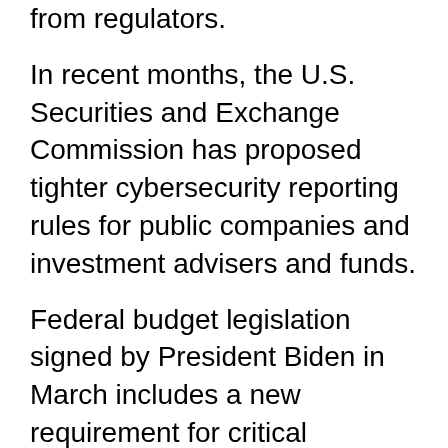from regulators.
In recent months, the U.S. Securities and Exchange Commission has proposed tighter cybersecurity reporting rules for public companies and investment advisers and funds.
Federal budget legislation signed by President Biden in March includes a new requirement for critical infrastructure operators to report cyber incidents to the Department of Homeland Security within 72 hours, and to report ransom payments within 24 hours. The directive covers public and private owners of utilities, health care facilities, critical manufacturing, communications and many other industries.
“We don’t want to hold the presence of the t